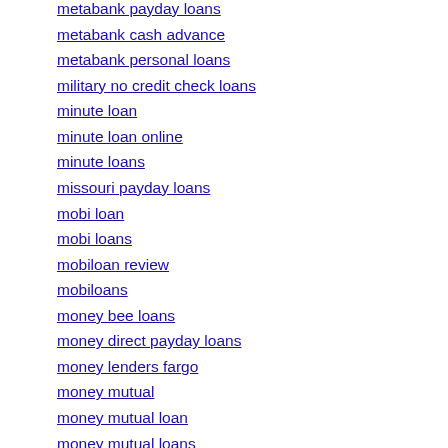metabank payday loans
metabank cash advance
metabank personal loans
military no credit check loans
minute loan
minute loan online
minute loans
missouri payday loans
mobi loan
mobi loans
mobiloan review
mobiloans
money bee loans
money direct payday loans
money lenders fargo
money mutual
money mutual loan
money mutual loans
money mutual payday loans